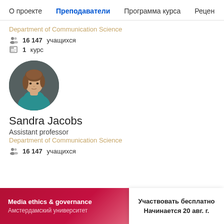О проекте   Преподаватели   Программа курса   Рецен...
Department of Communication Science
16 147 учащихся
1 курс
[Figure (photo): Circular profile photo of Sandra Jacobs, a woman with medium-length brown hair wearing a teal/green top, against a dark grey background.]
Sandra Jacobs
Assistant professor
Department of Communication Science
16 147 учащихся
Media ethics & governance  Амстердамский университет  Участвовать бесплатно  Начинается 20 авг. г.